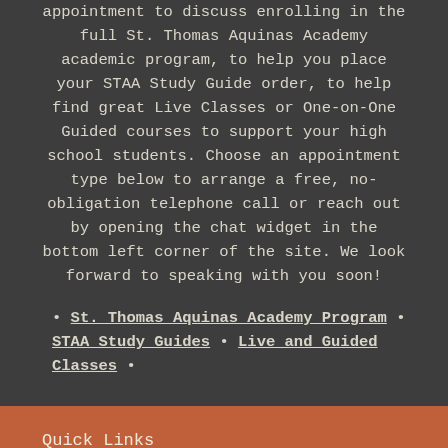appointment to discuss enrolling in the full St. Thomas Aquinas Academy academic program, to help you place your STAA Study Guide order, to help find great Live Classes or One-on-One Guided courses to support your high school students. Choose an appointment type below to arrange a free, no-obligation telephone call or reach out by opening the chat widget in the bottom left corner of the site. We look forward to speaking with you soon!
• St. Thomas Aquinas Academy Program • STAA Study Guides • Live and Guided Classes •
Quick Links
STAA Enrollment